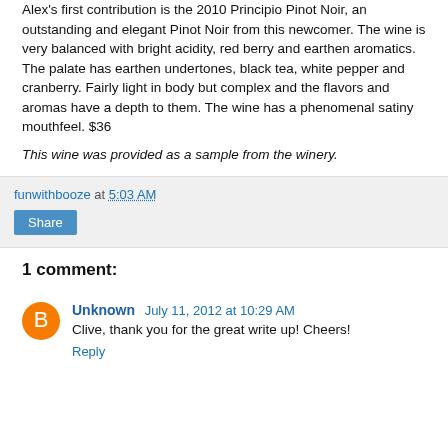Alex's first contribution is the 2010 Principio Pinot Noir, an outstanding and elegant Pinot Noir from this newcomer. The wine is very balanced with bright acidity, red berry and earthen aromatics. The palate has earthen undertones, black tea, white pepper and cranberry. Fairly light in body but complex and the flavors and aromas have a depth to them. The wine has a phenomenal satiny mouthfeel. $36
This wine was provided as a sample from the winery.
funwithbooze at 5:03 AM
Share
1 comment:
Unknown July 11, 2012 at 10:29 AM
Clive, thank you for the great write up! Cheers!
Reply